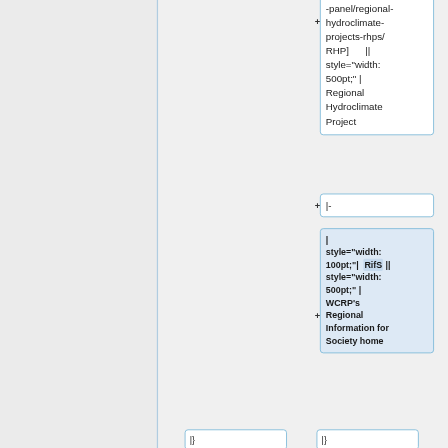-panel/regional-hydroclimate-projects-rhps/ RHP] || style="width: 500pt;" | Regional Hydroclimate Project
|-
| style="width: 100pt;"| RifS || style="width: 500pt;" | WCRP's Regional Information for Society home
|}
|}